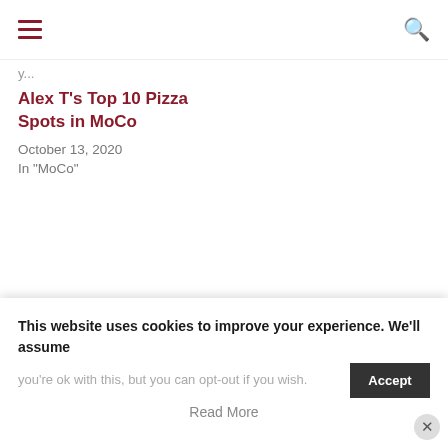hamburger menu | search icon
y...
Alex T's Top 10 Pizza Spots in MoCo
October 13, 2020
In "MoCo"
This website uses cookies to improve your experience. We'll assume you're ok with this, but you can opt-out if you wish.
Read More